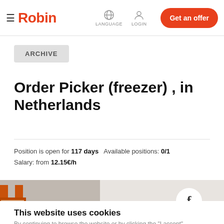Robin — LANGUAGE  LOGIN  Get an offer
ARCHIVE
Order Picker (freezer) , in Netherlands
Position is open for 117 days  Available positions: 0/1
Salary: from 12.15€/h
[Figure (photo): Warehouse worker in a beanie hat looking upward, holding a device; Facebook share button overlay (circular white button with 'f'); warehouse shelves with orange racks in background]
This website uses cookies
By continuing to browse the website or by clicking the "I accept"